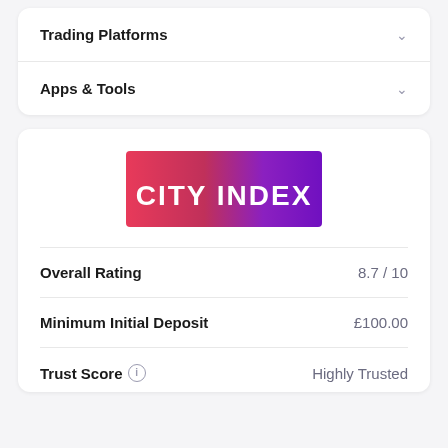Trading Platforms
Apps & Tools
[Figure (logo): City Index logo — gradient from red/pink on left to purple on right with white bold text 'CITY INDEX']
Overall Rating	8.7 / 10
Minimum Initial Deposit	£100.00
Trust Score (i)	Highly Trusted